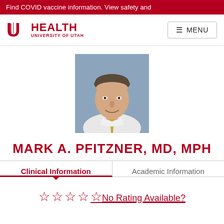Find COVID vaccine information. View safety and
[Figure (logo): University of Utah Health logo with U icon and HEALTH text]
MENU
[Figure (photo): Headshot of Dr. Mark A. Pfitzner, MD, MPH – a middle-aged man in a white shirt and gold tie, smiling, with dark hair, against a blue-grey background.]
MARK A. PFITZNER, MD, MPH
Clinical Information
Academic Information
☆ ☆ ☆ ☆ ☆No Rating Available?